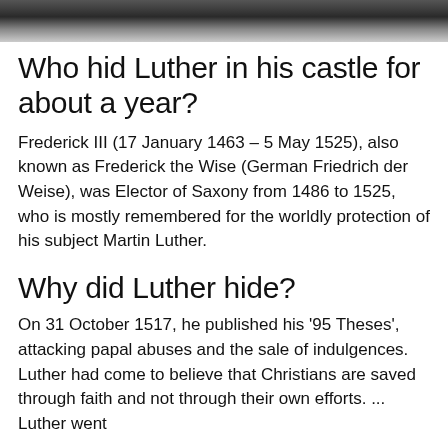[Figure (photo): Partial black and white photograph at the top of the page, cropped.]
Who hid Luther in his castle for about a year?
Frederick III (17 January 1463 – 5 May 1525), also known as Frederick the Wise (German Friedrich der Weise), was Elector of Saxony from 1486 to 1525, who is mostly remembered for the worldly protection of his subject Martin Luther.
Why did Luther hide?
On 31 October 1517, he published his '95 Theses', attacking papal abuses and the sale of indulgences. Luther had come to believe that Christians are saved through faith and not through their own efforts. ... Luther went